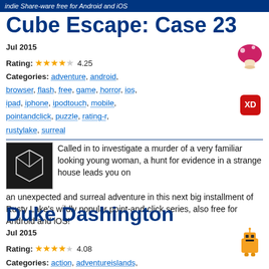indie Share-ware free for Android and iOS
Cube Escape: Case 23
Jul 2015
Rating: ★★★★☆ 4.25
Categories: adventure, android, browser, flash, free, game, horror, ios, ipad, iphone, ipodtouch, mobile, pointandclick, puzzle, rating-r, rustylake, surreal
Called in to investigate a murder of a very familiar looking young woman, a hunt for evidence in a strange house leads you on an unexpected and surreal adventure in this next big installment of Rusty Lake's wildly popular point-and-click series, also free for Android and iOS!
Duke Dashington
Jul 2015
Rating: ★★★★☆ 4.08
Categories: action, adventureislands,